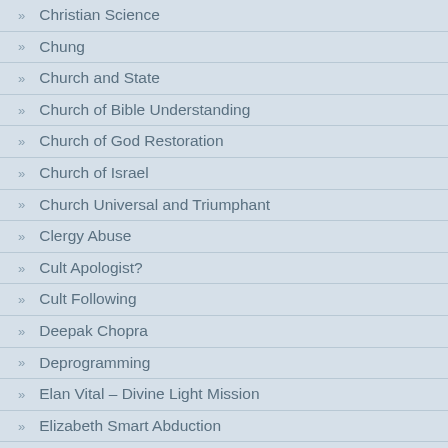Christian Science
Chung
Church and State
Church of Bible Understanding
Church of God Restoration
Church of Israel
Church Universal and Triumphant
Clergy Abuse
Cult Apologist?
Cult Following
Deepak Chopra
Deprogramming
Elan Vital – Divine Light Mission
Elizabeth Smart Abduction
End Times
Endeavor Academy
Environmental Extremists